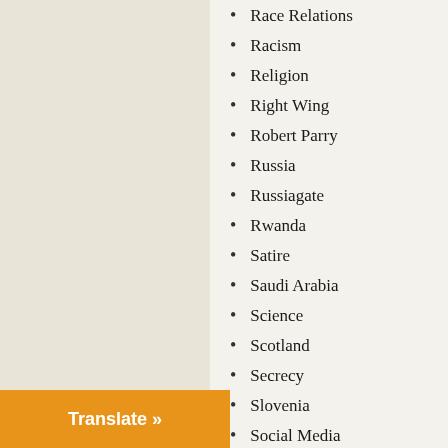Race Relations
Racism
Religion
Right Wing
Robert Parry
Russia
Russiagate
Rwanda
Satire
Saudi Arabia
Science
Scotland
Secrecy
Slovenia
Social Media
Somalia
South Africa
South Korea
Soviet Union